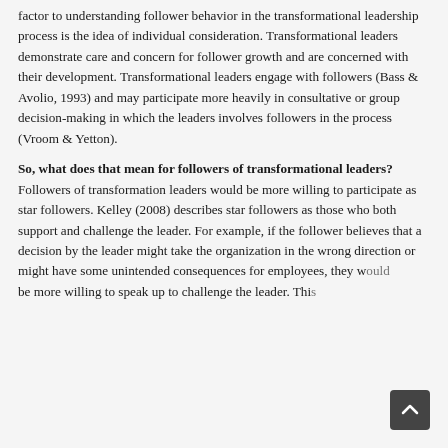factor to understanding follower behavior in the transformational leadership process is the idea of individual consideration. Transformational leaders demonstrate care and concern for follower growth and are concerned with their development. Transformational leaders engage with followers (Bass & Avolio, 1993) and may participate more heavily in consultative or group decision-making in which the leaders involves followers in the process (Vroom & Yetton).
So, what does that mean for followers of transformational leaders? Followers of transformation leaders would be more willing to participate as star followers. Kelley (2008) describes star followers as those who both support and challenge the leader. For example, if the follower believes that a decision by the leader might take the organization in the wrong direction or might have some unintended consequences for employees, they w[ould] be more willing to speak up to challenge the leader. Thi[s...]